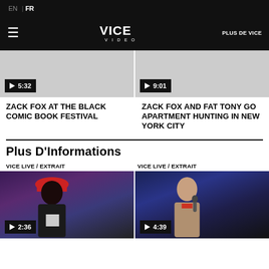EN | FR
VICE VIDEO | PLUS DE VICE
[Figure (screenshot): Video thumbnail with play badge showing 5:32]
[Figure (screenshot): Video thumbnail with play badge showing 9:01]
ZACK FOX AT THE BLACK COMIC BOOK FESTIVAL
ZACK FOX AND FAT TONY GO APARTMENT HUNTING IN NEW YORK CITY
Plus D'Informations
VICE LIVE / EXTRAIT
VICE LIVE / EXTRAIT
[Figure (screenshot): Video thumbnail with play badge showing 2:36, person wearing red hat on stage]
[Figure (screenshot): Video thumbnail with play badge showing 4:39, person with microphone on stage]